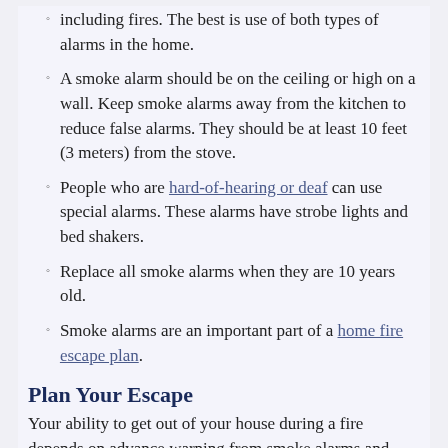including fires. The best is use of both types of alarms in the home.
A smoke alarm should be on the ceiling or high on a wall. Keep smoke alarms away from the kitchen to reduce false alarms. They should be at least 10 feet (3 meters) from the stove.
People who are hard-of-hearing or deaf can use special alarms. These alarms have strobe lights and bed shakers.
Replace all smoke alarms when they are 10 years old.
Smoke alarms are an important part of a home fire escape plan.
Plan Your Escape
Your ability to get out of your house during a fire depends on advance warning from smoke alarms and advance planning.
Get everyone in your household together and make a home escape plan (PDF, 1.1 MB). Walk through